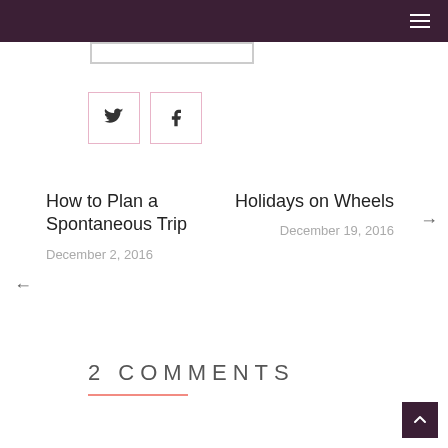≡
[Figure (screenshot): Input bar / search box partially visible]
[Figure (infographic): Social share buttons: Twitter (bird icon) and Facebook (f icon) in pink-bordered squares]
How to Plan a Spontaneous Trip
December 2, 2016
Holidays on Wheels
December 19, 2016
2 COMMENTS